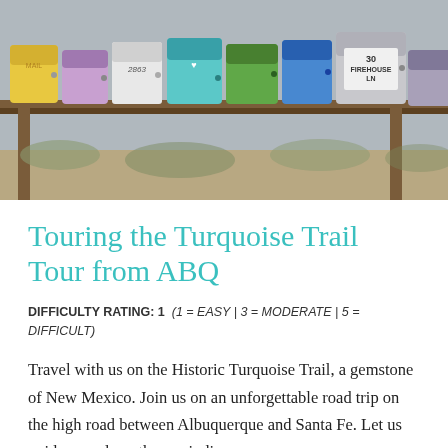[Figure (photo): A row of colorful painted mailboxes on a wooden beam/rail. One mailbox reads '30 FIREHOUSE LN'. The mailboxes are various colors including yellow, blue, green, teal, and gray. The background shows a sandy/rural setting.]
Touring the Turquoise Trail Tour from ABQ
DIFFICULTY RATING: 1  (1 = EASY | 3 = MODERATE | 5 = DIFFICULT)
Travel with us on the Historic Turquoise Trail, a gemstone of New Mexico. Join us on an unforgettable road trip on the high road between Albuquerque and Santa Fe. Let us guide you along these winding